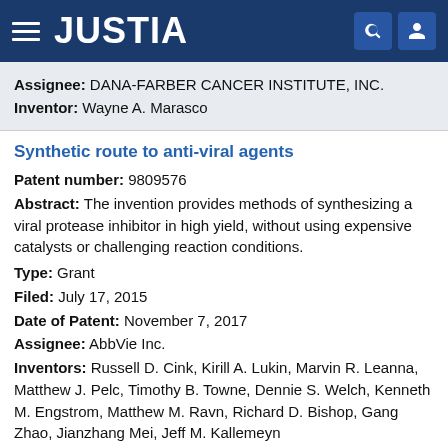JUSTIA
Assignee: DANA-FARBER CANCER INSTITUTE, INC.
Inventor: Wayne A. Marasco
Synthetic route to anti-viral agents
Patent number: 9809576
Abstract: The invention provides methods of synthesizing a viral protease inhibitor in high yield, without using expensive catalysts or challenging reaction conditions.
Type: Grant
Filed: July 17, 2015
Date of Patent: November 7, 2017
Assignee: AbbVie Inc.
Inventors: Russell D. Cink, Kirill A. Lukin, Marvin R. Leanna, Matthew J. Pelc, Timothy B. Towne, Dennie S. Welch, Kenneth M. Engstrom, Matthew M. Ravn, Richard D. Bishop, Gang Zhao, Jianzhang Mei, Jeff M. Kallemeyn